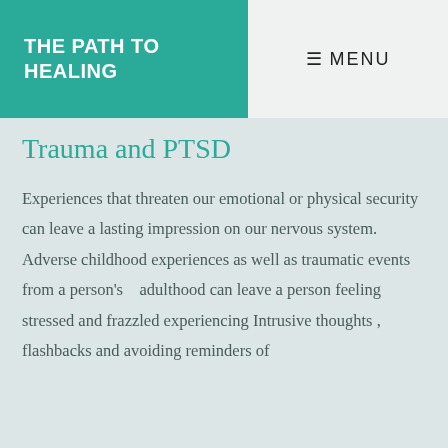THE PATH TO HEALING
≡ MENU
Trauma and PTSD
Experiences that threaten our emotional or physical security can leave a lasting impression on our nervous system.  Adverse childhood experiences as well as traumatic events from a person's   adulthood can leave a person feeling stressed and frazzled experiencing Intrusive thoughts , flashbacks and avoiding reminders of